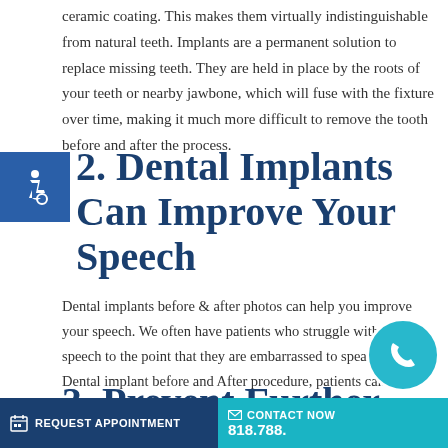ceramic coating. This makes them virtually indistinguishable from natural teeth. Implants are a permanent solution to replace missing teeth. They are held in place by the roots of your teeth or nearby jawbone, which will fuse with the fixture over time, making it much more difficult to remove the tooth before and after the process.
2. Dental Implants Can Improve Your Speech
Dental implants before & after photos can help you improve your speech. We often have patients who struggle with their speech to the point that they are embarrassed to speak in public. Dental implant before and After procedure, patients can speak more clearly and feel more confident.
3. Prevent Further
REQUEST APPOINTMENT   CONTACT NOW 818.788.